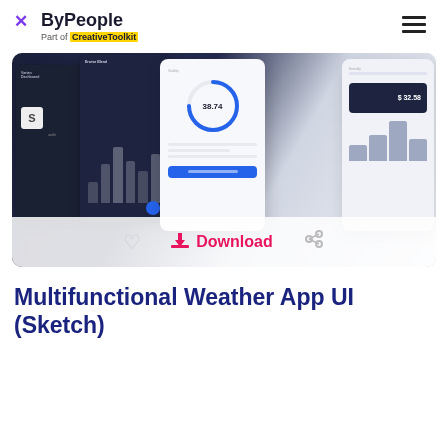ByPeople — Part of CreativeToolkit
[Figure (screenshot): Screenshot of ByPeople website showing a Multifunctional Weather App UI (Sketch) resource card with dark and light phone mockups showing weather app screens, plus Download, heart, and link icons at the bottom of the card.]
Multifunctional Weather App UI (Sketch)